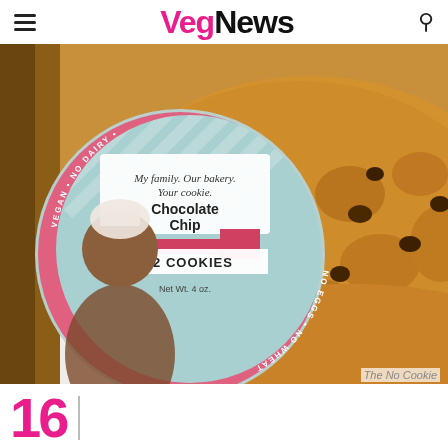VegNews
[Figure (photo): A close-up photo of chocolate chip cookies with a round product label showing a young child in a chef's hat. The label reads: 'My family. Our bakery. Your cookie. Chocolate Chip. 2 COOKIES. Net Wt. 4 oz.' with 'VEGAN • NO DAIRY • NO EGGS • NO WHEAT' around the rim.]
The No Cookie